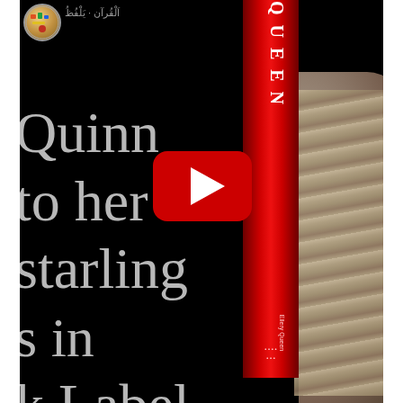[Figure (screenshot): A social media video thumbnail showing a black background with large grey/white serif text reading partial words 'Quinn', 'to her', 'starling', 's in', 'k Label'. A red book spine is visible in the center-right with stylized text. A person with wavy blonde/grey hair is visible on the right side. A YouTube play button (red rounded rectangle with white triangle) is overlaid in the center. A small profile avatar with decorative icon is in the top left corner.]